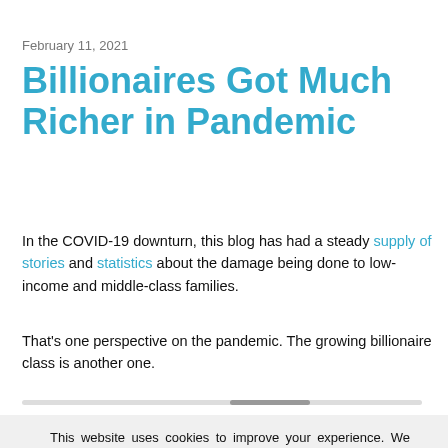February 11, 2021
Billionaires Got Much Richer in Pandemic
In the COVID-19 downturn, this blog has had a steady supply of stories and statistics about the damage being done to low-income and middle-class families.
That's one perspective on the pandemic. The growing billionaire class is another one.
This website uses cookies to improve your experience. We also use IP addresses, domain information and other access statistics to administer the site and analyze usage trends. If you prefer to opt out, you can select Update settings. Read our Privacy Policy.